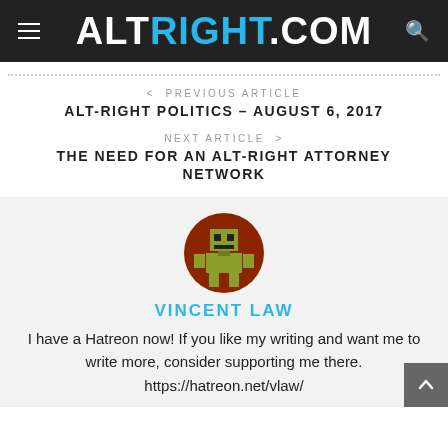ALTRIGHT.COM
< PREVIOUS ARTICLE
ALT-RIGHT POLITICS – AUGUST 6, 2017
NEXT ARTICLE >
THE NEED FOR AN ALT-RIGHT ATTORNEY NETWORK
[Figure (illustration): Circular avatar with brown background and pixel-art robot/character icon in olive green]
VINCENT LAW
I have a Hatreon now! If you like my writing and want me to write more, consider supporting me there. https://hatreon.net/vlaw/